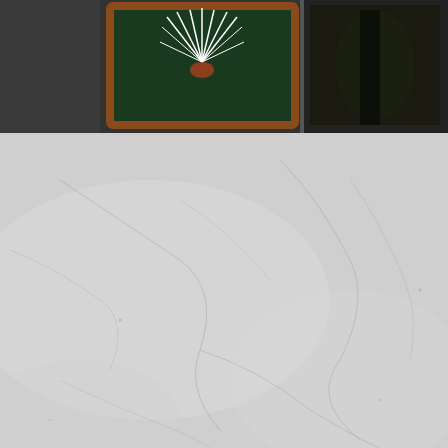[Figure (screenshot): Dark product listing bar at top with a framed fantasy artwork (white feathered/palm design on green background with ornate orange frame) partially visible on left, and another dark fantasy artwork partially visible on far right]
Price: 20.00 €
[Figure (other): Cracked stone or marble textured background filling the lower portion of the page]
1
2
3
4
next ›